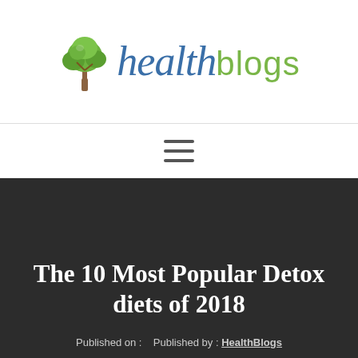[Figure (logo): HealthBlogs logo with a green tree icon and the text 'health' in blue italic script and 'blogs' in green sans-serif]
[Figure (other): Hamburger menu icon (three horizontal lines)]
The 10 Most Popular Detox diets of 2018
Published on :   Published by : HealthBlogs